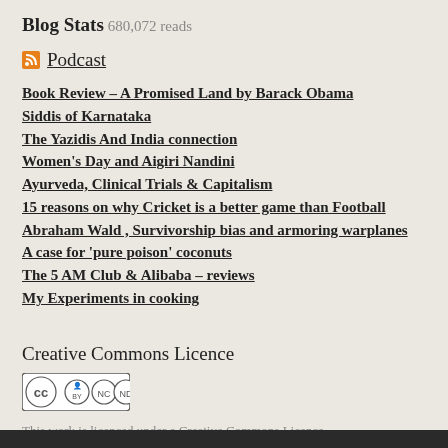Blog Stats
680,072 reads
Podcast
Book Review – A Promised Land by Barack Obama
Siddis of Karnataka
The Yazidis And India connection
Women's Day and Aigiri Nandini
Ayurveda, Clinical Trials & Capitalism
15 reasons on why Cricket is a better game than Football
Abraham Wald , Survivorship bias and armoring warplanes
A case for 'pure poison' coconuts
The 5 AM Club & Alibaba – reviews
My Experiments in cooking
Creative Commons Licence
[Figure (logo): Creative Commons BY-NC-ND licence badge]
This work is licenced under a Creative Commons Licence.